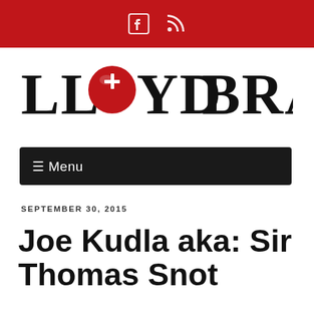[Figure (logo): Lloyd Brant logo with red sphere replacing the 'O' in LLOYD, with white cross on sphere]
≡ Menu
SEPTEMBER 30, 2015
Joe Kudla aka: Sir Thomas Snot